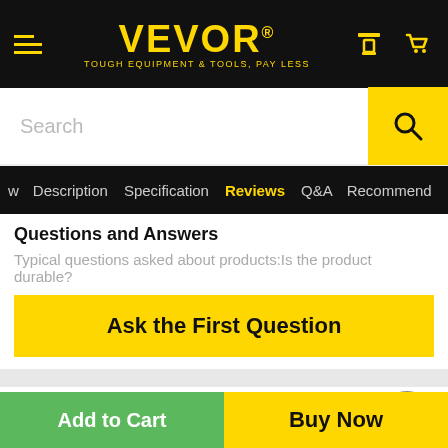VEVOR® — TOUGH EQUIPMENT & TOOLS, PAY LESS
Search
w  Description  Specification  Reviews  Q&A  Recommend
Questions and Answers
Typical questions asked about products:Is the product durable?
Ask the First Question
People Who Viewed This Item Also Viewed
Add to Cart
Buy Now